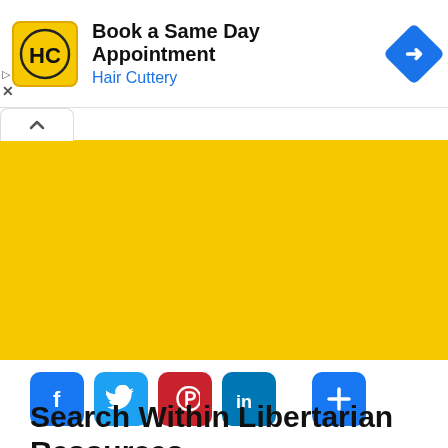[Figure (screenshot): Advertisement banner for Hair Cuttery: logo with HC initials, text 'Book a Same Day Appointment' and 'Hair Cuttery', blue diamond navigation icon on right]
[Figure (screenshot): Yellow/gold colored block area with a white tab/pill containing a caret-up (collapse) icon at the top-left]
[Figure (infographic): Social sharing buttons row: Facebook (blue f), Twitter (blue bird), Pinterest (red P), LinkedIn (blue in), and a blue plus (+) button on the right]
Search Within Libertarian Resources